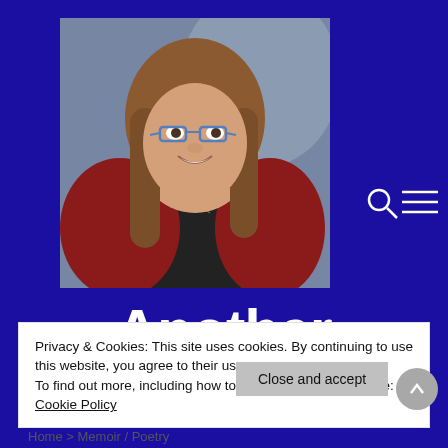[Figure (photo): Portrait photo of a smiling woman with long brown hair, blue-rimmed glasses, wearing a red cardigan over a dark top, photographed against a blurred outdoor background.]
Another
Privacy & Cookies: This site uses cookies. By continuing to use this website, you agree to their use.
To find out more, including how to control cookies, see here: Cookie Policy
Close and accept
Home > Memoir / Poetry